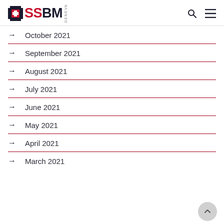SSBM Geneva
October 2021
September 2021
August 2021
July 2021
June 2021
May 2021
April 2021
March 2021